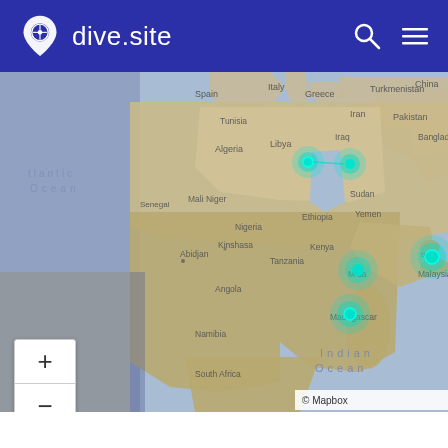dive.site
[Figure (map): World map centered on Africa, Indian Ocean, and Middle East region, showing dive site location markers (teal/cyan circular pins) near Egypt/Red Sea, Sudan/Saudi Arabia, Madagascar, Malaysia/Southeast Asia, and East Africa coast. Map is partially dimmed on left side. Ocean labels visible: North Atlantic Ocean, Indian Ocean. Country/region labels: Spain, Italy, Greece, Turkmenistan, China, Tunisia, Iran, Pakistan, Bangladesh, Algeria, Libya, Iraq, Sudan, Senegal, Mali, Niger, Nigeria, Ethiopia, Yemen, Kenya, Kinshasa, Tanzania, Angola, Namibia, Madagascar, South Africa, Malaysia, Cambodia. City labels: Abidjan. Zoom controls (+/-) visible bottom left. Mapbox attribution bottom right.]